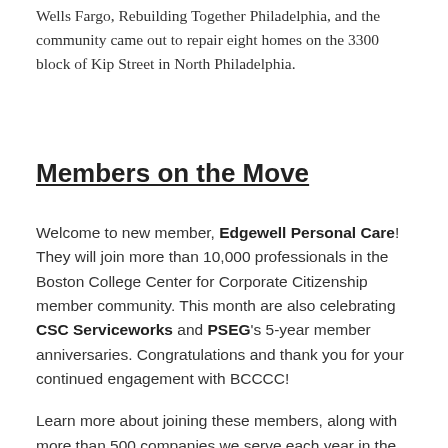Wells Fargo, Rebuilding Together Philadelphia, and the community came out to repair eight homes on the 3300 block of Kip Street in North Philadelphia.
Members on the Move
Welcome to new member, Edgewell Personal Care! They will join more than 10,000 professionals in the Boston College Center for Corporate Citizenship member community. This month are also celebrating CSC Serviceworks and PSEG's 5-year member anniversaries. Congratulations and thank you for your continued engagement with BCCCC!
Learn more about joining these members, along with more than 500 companies we serve each year in the Boston College Center for Corporate Citizenship member community: Member Benefits.